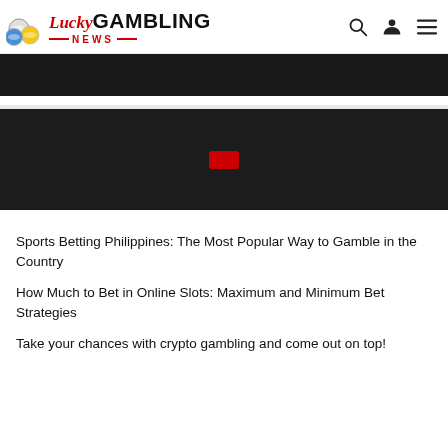Lucky GAMBLING NEWS
[Figure (screenshot): Black banner advertisement strip]
[Figure (screenshot): Dark video player with red play button in center]
Sports Betting Philippines: The Most Popular Way to Gamble in the Country
How Much to Bet in Online Slots: Maximum and Minimum Bet Strategies
Take your chances with crypto gambling and come out on top!